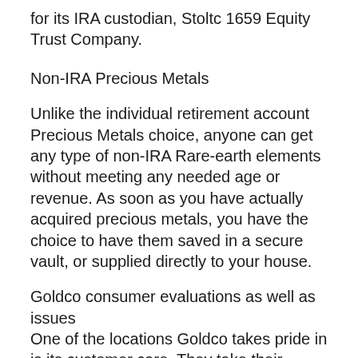for its IRA custodian, Stoltc 1659 Equity Trust Company.
Non-IRA Precious Metals
Unlike the individual retirement account Precious Metals choice, anyone can get any type of non-IRA Rare-earth elements without meeting any needed age or revenue. As soon as you have actually acquired precious metals, you have the choice to have them saved in a secure vault, or supplied directly to your house.
Goldco consumer evaluations as well as issues
One of the locations Goldco takes pride in is its customer care. They take their customer